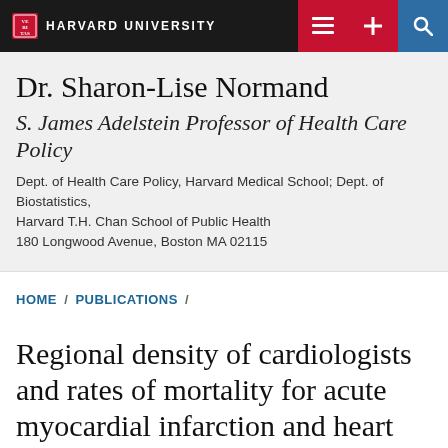HARVARD UNIVERSITY
Dr. Sharon-Lise Normand
S. James Adelstein Professor of Health Care Policy
Dept. of Health Care Policy, Harvard Medical School; Dept. of Biostatistics, Harvard T.H. Chan School of Public Health
180 Longwood Avenue, Boston MA 02115
HOME / PUBLICATIONS /
Regional density of cardiologists and rates of mortality for acute myocardial infarction and heart failure